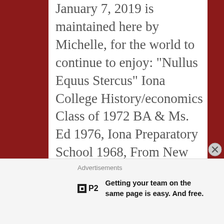January 7, 2019 is maintained here by Michelle, for the world to continue to enjoy: "Nullus Equus Stercus" Iona College History/economics Class of 1972 BA & Ms. Ed 1976, Iona Preparatory School 1968, From New Rochelle, NY, Lives in Westchester, NY. “Time you enjoy wasting is not wasted time.” *All content
Advertisements
Getting your team on the same page is easy. And free.